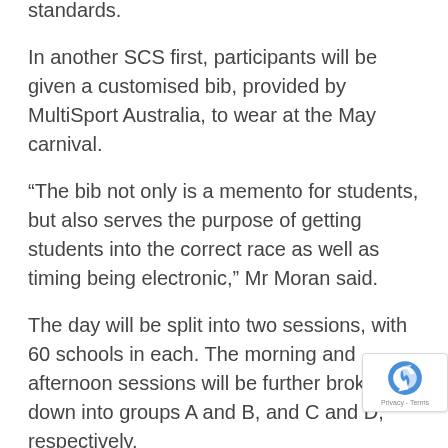standards.
In another SCS first, participants will be given a customised bib, provided by MultiSport Australia, to wear at the May carnival.
“The bib not only is a memento for students, but also serves the purpose of getting students into the correct race as well as timing being electronic,” Mr Moran said.
The day will be split into two sessions, with 60 schools in each. The morning and afternoon sessions will be further broken down into groups A and B, and C and D, respectively.